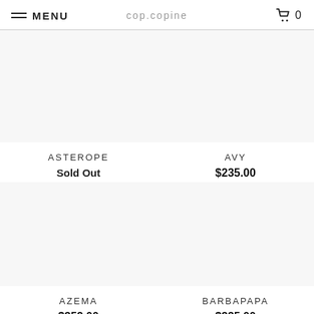MENU  cop.copine  0
ASTEROPE
Sold Out
AVY
$235.00
AZEMA
$352.00
BARBAPAPA
$335.00